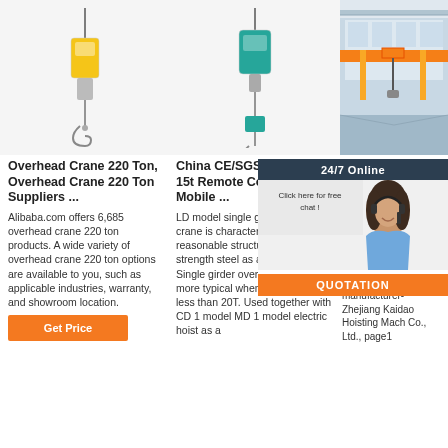[Figure (photo): Yellow electric hoist/chain block on white background, column 1]
[Figure (photo): Teal/green electric chain hoist on white background, column 2]
[Figure (photo): Interior of industrial warehouse showing overhead crane with yellow/orange beams, column 3]
Overhead Crane 220 Ton, Overhead Crane 220 Ton Suppliers ...
Alibaba.com offers 6,685 overhead crane 220 ton products. A wide variety of overhead crane 220 ton options are available to you, such as applicable industries, warranty, and showroom location.
[Figure (other): Orange 'Get Price' button]
China CE/SGS 3t 5t 10t 15t Remote Control Travel Mobile ...
LD model single girder overhead crane is characterized by more reasonable structure and higher strength steel as a whole crane. Single girder overhead crane is more typical when lifting capacity less than 20T. Used together with CD 1 model MD 1 model electric hoist as a
Crane - Kaidao Machinery Co., Ltd. - I
China C of 0.5to Wall Ca Crane w Chain H Indoor Shop Single Girder Travelling Overhead Crane provided by China manufacturer- Zhejiang Kaidao Hoisting Mach Co., Ltd., page1
[Figure (screenshot): 24/7 Online chat popup overlay with woman wearing headset, 'Click here for free chat!' text and orange QUOTATION button]
[Figure (other): Orange button at bottom right (partly visible)]